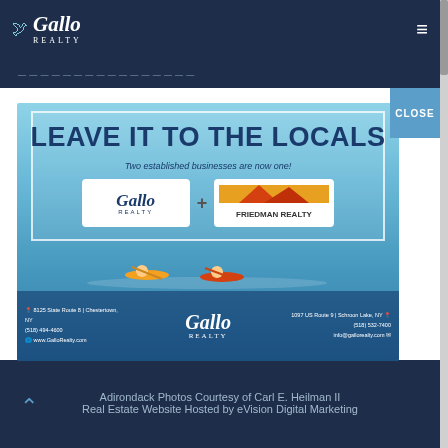Gallo Realty
[Figure (illustration): Gallo Realty advertisement popup showing 'LEAVE IT TO THE LOCALS - Two established businesses are now one!' with Gallo Realty + Friedman Realty logos, kayakers on water, and contact information for two office locations]
CLOSE
Adirondack Photos Courtesy of Carl E. Heilman II
Real Estate Website Hosted by eVision Digital Marketing